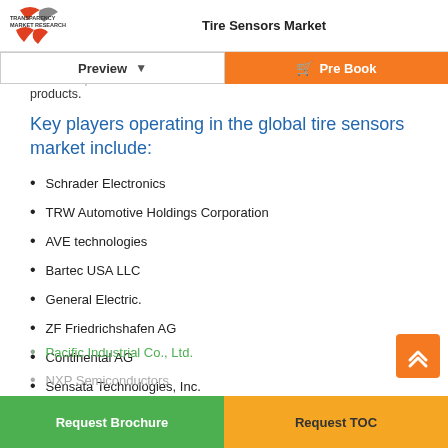Tire Sensors Market
Moreover, manufacturers are undertaking mergers and acquisitions for the development of innovative products.
Key players operating in the global tire sensors market include:
Schrader Electronics
TRW Automotive Holdings Corporation
AVE technologies
Bartec USA LLC
General Electric.
ZF Friedrichshafen AG
Continental AG
Sensata Technologies, Inc.
Denso Corporation
Pacific Industrial Co., Ltd.
NXP Semiconductors